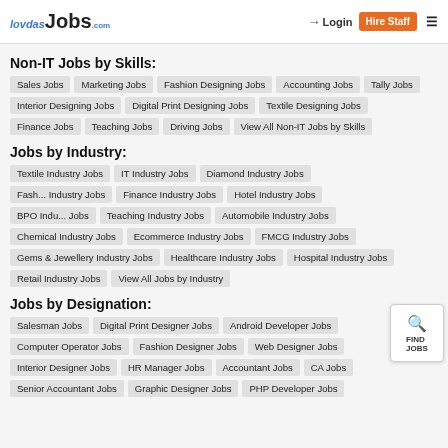lovdas Jobs.com | Login | Hire Staff
Non-IT Jobs by Skills:
Sales Jobs
Marketing Jobs
Fashion Designing Jobs
Accounting Jobs
Tally Jobs
Interior Designing Jobs
Digital Print Designing Jobs
Textile Designing Jobs
Finance Jobs
Teaching Jobs
Driving Jobs
View All Non-IT Jobs by Skills
Jobs by Industry:
Textile Industry Jobs
IT Industry Jobs
Diamond Industry Jobs
Fashion Industry Jobs
Finance Industry Jobs
Hotel Industry Jobs
BPO Industry Jobs
Teaching Industry Jobs
Automobile Industry Jobs
Chemical Industry Jobs
Ecommerce Industry Jobs
FMCG Industry Jobs
Gems & Jewellery Industry Jobs
Healthcare Industry Jobs
Hospital Industry Jobs
Retail Industry Jobs
View All Jobs by Industry
Jobs by Designation:
Salesman Jobs
Digital Print Designer Jobs
Android Developer Jobs
Computer Operator Jobs
Fashion Designer Jobs
Web Designer Jobs
Interior Designer Jobs
HR Manager Jobs
Accountant Jobs
CA Jobs
Senior Accountant Jobs
Graphic Designer Jobs
PHP Developer Jobs